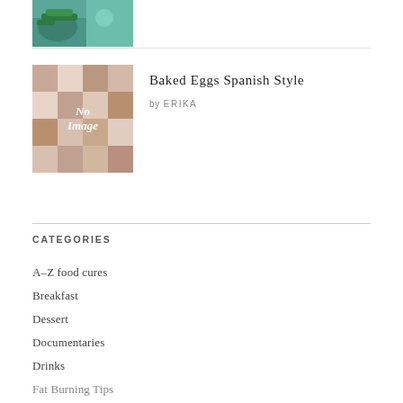[Figure (photo): Partial view of a food dish with green garnish on a teal/blue surface, cropped at top]
Baked Eggs Spanish Style
by ERIKA
[Figure (photo): No Image placeholder thumbnail with pixelated/mosaic pattern in beige and brown tones]
CATEGORIES
A–Z food cures
Breakfast
Dessert
Documentaries
Drinks
Fat Burning Tips